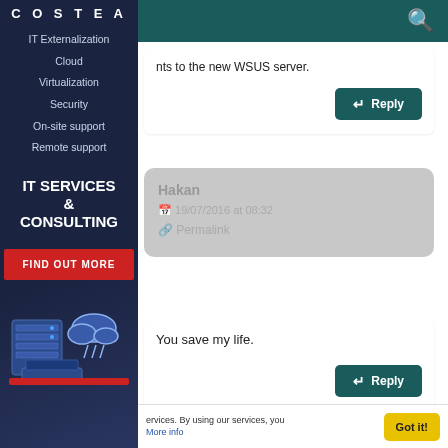[Figure (screenshot): Website sidebar with dark navy background showing COSTEA logo, navigation menu items (IT Externalization, Cloud, Virtualization, Security, On-site support, Remote support), IT SERVICES & CONSULTING heading, FIND OUT MORE red button, and server/cloud illustration at bottom]
IT Externalization
Cloud
Virtualization
Security
On-site support
Remote support
IT SERVICES & CONSULTING
nts to the new WSUS server.
Hakan
19/07/2016 at 08:32
Permalink
You save my life.
ervices. By using our services, you
More info